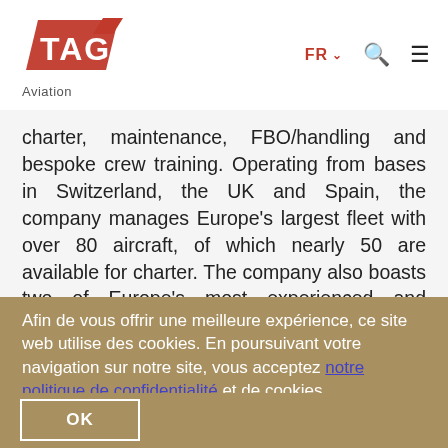[Figure (logo): TAG Aviation logo — red stylized wing/flag shape with white TAG letters, and 'Aviation' text below in grey]
charter, maintenance, FBO/handling and bespoke crew training. Operating from bases in Switzerland, the UK and Spain, the company manages Europe's largest fleet with over 80 aircraft, of which nearly 50 are available for charter. The company also boasts two of Europe's most experienced and capable aircraft maintenance centres, located in Geneva and Farnborough, along with local maintenance
Afin de vous offrir une meilleure expérience, ce site web utilise des cookies. En poursuivant votre navigation sur notre site, vous acceptez notre politique de confidentialité et de cookies.
OK